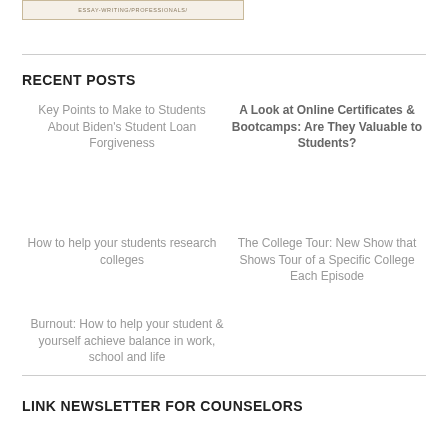[Figure (screenshot): Banner image with text ESSAY-WRITING/PROFESSIONALS/ on a beige/tan background]
RECENT POSTS
Key Points to Make to Students About Biden's Student Loan Forgiveness
A Look at Online Certificates & Bootcamps: Are They Valuable to Students?
How to help your students research colleges
The College Tour: New Show that Shows Tour of a Specific College Each Episode
Burnout: How to help your student & yourself achieve balance in work, school and life
LINK NEWSLETTER FOR COUNSELORS